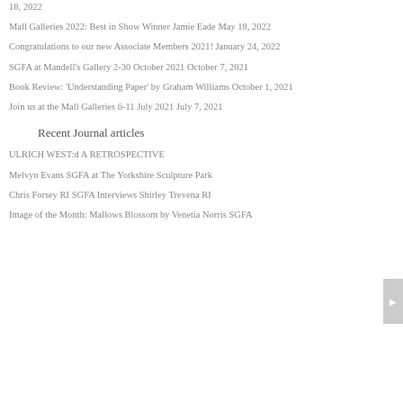18, 2022
Mall Galleries 2022: Best in Show Winner Jamie Eade May 18, 2022
Congratulations to our new Associate Members 2021! January 24, 2022
SGFA at Mandell's Gallery 2-30 October 2021 October 7, 2021
Book Review: 'Understanding Paper' by Graham Williams October 1, 2021
Join us at the Mall Galleries 6-11 July 2021 July 7, 2021
Recent Journal articles
ULRICH WEST:d A RETROSPECTIVE
Melvyn Evans SGFA at The Yorkshire Sculpture Park
Chris Forsey RI SGFA Interviews Shirley Trevena RI
Image of the Month: Mallows Blossom by Venetia Norris SGFA